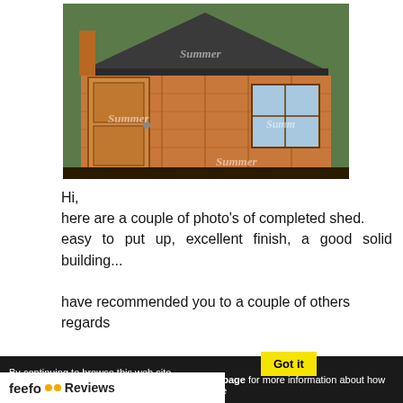[Figure (photo): Photo of a completed wooden garden shed with orange-stained timber walls, grey roof, a white door on the left, and a window on the right. Multiple 'Summer' watermarks overlaid. Set in a garden environment.]
Hi,
here are a couple of photo's of completed shed.
easy to put up, excellent finish, a good solid building...

have recommended you to a couple of others
regards
By continuing to browse this web site, you are consenting to the use of
Got it
feefo Reviews
s page for more information about how we